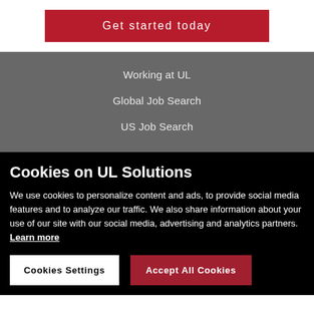Get started today
Working at UL
Global Job Search
US Job Search
Cookies on UL Solutions
We use cookies to personalize content and ads, to provide social media features and to analyze our traffic. We also share information about your use of our site with our social media, advertising and analytics partners. Learn more
Cookies Settings
Accept All Cookies